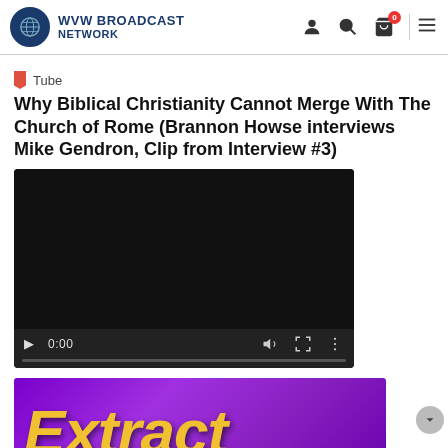WVW BROADCAST NETWORK
Tube
Why Biblical Christianity Cannot Merge With The Church of Rome (Brannon Howse interviews Mike Gendron, Clip from Interview #3)
[Figure (screenshot): Video player with black screen showing 0:00 timestamp, play button, volume icon, fullscreen icon, and more options icon, with a progress bar at the bottom]
[Figure (screenshot): Purple/magenta background thumbnail showing the word 'Extract' in large yellow italic text, partially cut off at the bottom]